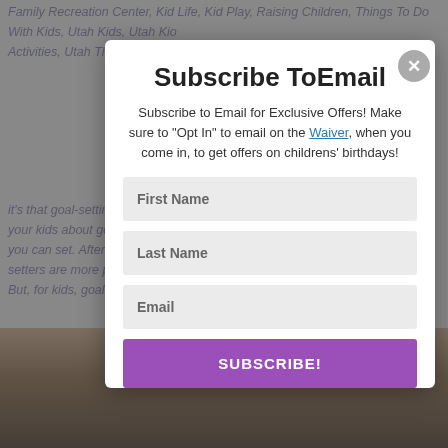Family Recreation Center, Kid Life, Kid Play, Raising Children, Things To Do With Kids, Utah Kids, Utah Kids Activities, Utah Things to do with kids
it's that goal-setting time of year again. And teaching your kids about goals is probably one of the best goals you can set. After all, people who are good goal-setters are more productive and accomplish more. But, for kids, goal setting can be a little...
Subscribe ToEmail
Subscribe to Email for Exclusive Offers! Make sure to "Opt In" to email on the Waiver, when you come in, to get offers on childrens' birthdays!
First Name
Last Name
Email
SUBSCRIBE!